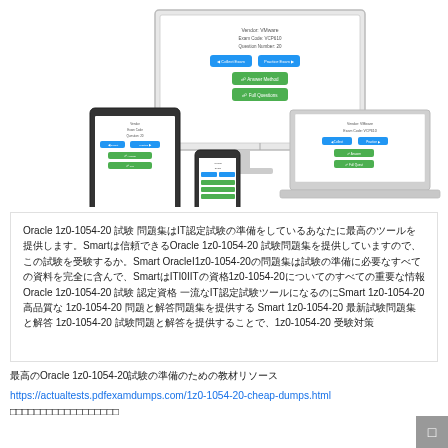[Figure (illustration): Marketing illustration showing exam practice software displayed on multiple devices: desktop monitor, laptop, tablet, and smartphone, all showing a quiz/exam interface with blue and green buttons]
Oracle 1z0-1054-20 試験 問題集はIT認定試験の準備をしているあなたに最高のツールを提供します。Smartは信頼できるOracle 1z0-1054-20 試験問題集を提供していますので、この試験を受験するか。Smart OracleI1z0-1054-20の問題集は試験の準備に必要なすべての資料を完全に含んで、SmartはITI0IITの資格1z0-1054-20についてのすべての重要な情報Oracle 1z0-1054-20 試験 認定資格 一流なIT認定試験ツールになるのにSmart 1z0-1054-20 高品質な 1z0-1054-20 問題と解答問題集を提供する Smart 1z0-1054-20 最新試験問題集と解答 1z0-1054-20 試験問題と解答を提供することで、1z0-1054-20 受験対策
最高のOracle 1z0-1054-20試験の準備のための教材リソース
https://actualtests.pdfexamdumps.com/1z0-1054-20-cheap-dumps.html